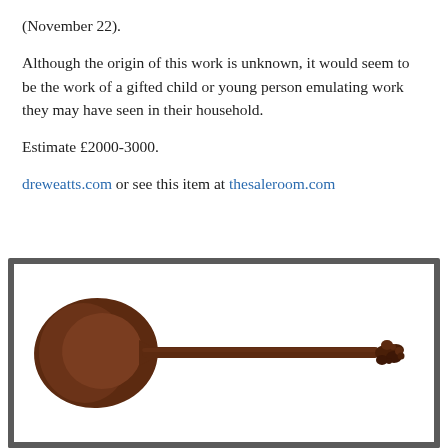(November 22).
Although the origin of this work is unknown, it would seem to be the work of a gifted child or young person emulating work they may have seen in their household.
Estimate £2000-3000.
dreweatts.com or see this item at thesaleroom.com
[Figure (photo): A typical 19th century paddle from the Austral Islands, shown horizontally. The paddle has a wide oval blade on the left tapering to a long thin handle ending in a decorative carved grip on the right. The object is dark brown wood.]
Typical 19th century paddle from the Austral Islands – estimate £2500-3500 at Tennants on